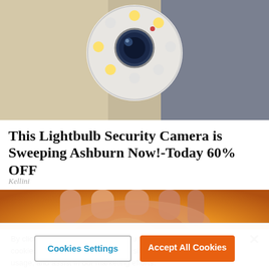[Figure (photo): White dome-shaped lightbulb security camera with multiple LED lights around a central blue lens, pictured against a warm beige/brown background suggesting an indoor setting]
This Lightbulb Security Camera is Sweeping Ashburn Now!-Today 60% OFF
Kellini
[Figure (photo): Close-up of a hand holding a translucent orange/amber spherical object against a yellow-orange background, appears to be an egg being held up to a light source]
By clicking “Accept All Cookies”, you agree to the storing of cookies on your device to enhance site navigation, analyze site usage, and assist in our marketing efforts.
Cookies Settings
Accept All Cookies